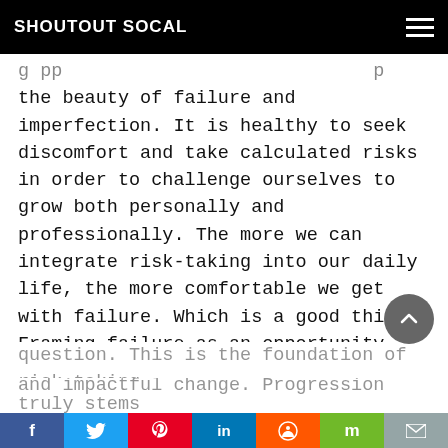SHOUTOUT SOCAL
the beauty of failure and imperfection. It is healthy to seek discomfort and take calculated risks in order to challenge ourselves to grow both personally and professionally. The more we can integrate risk-taking into our daily life, the more comfortable we get with failure. Which is a good thing. Framing failure as an opportunity is an imperative part of risk-taking. I personally prioritize taking calculated risks on a daily basis. One way I do so is by challenging the status quo and asking the simple question “why?” Don’t take everything for face value. Dig deeper and question. This is the foundation of risk-taking and impactful change. Progression truly stems